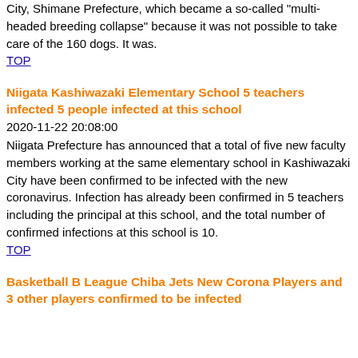City, Shimane Prefecture, which became a so-called "multi-headed breeding collapse" because it was not possible to take care of the 160 dogs. It was.
TOP
Niigata Kashiwazaki Elementary School 5 teachers infected 5 people infected at this school
2020-11-22 20:08:00
Niigata Prefecture has announced that a total of five new faculty members working at the same elementary school in Kashiwazaki City have been confirmed to be infected with the new coronavirus. Infection has already been confirmed in 5 teachers including the principal at this school, and the total number of confirmed infections at this school is 10.
TOP
Basketball B League Chiba Jets New Corona Players and 3 other players confirmed to be infected